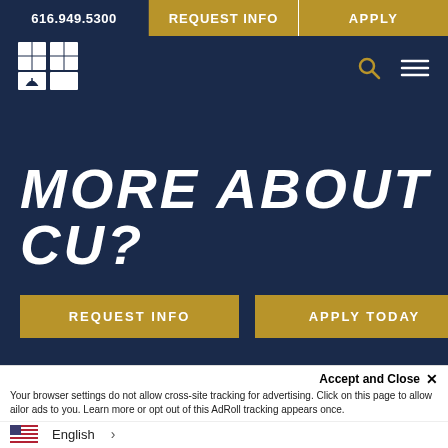616.949.5300 | REQUEST INFO | APPLY
[Figure (logo): Cornerstone University logo - white diamond/leaf icon]
MORE ABOUT CU?
REQUEST INFO
APPLY TODAY
CONNECT WITH CU
[Figure (infographic): Social media icons: Instagram, Zelle/Z, YouTube, Facebook]
Accept and Close ✕
Your browser settings do not allow cross-site tracking for advertising. Click on this page to allow ailor ads to you. Learn more or opt out of this AdRoll tracking appears once.
English >